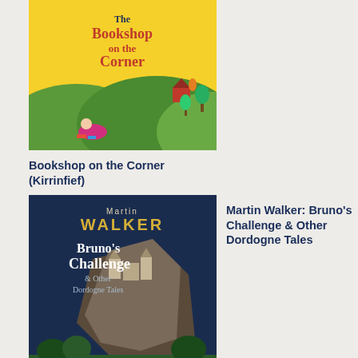[Figure (illustration): Book cover: The Bookshop on the Corner - yellow background with illustrated scene of person reading, hills and trees]
Bookshop on the Corner (Kirrinfief)
[Figure (illustration): Book cover: Martin Walker - Bruno's Challenge & Other Dordogne Tales - dark blue with river and cliff landscape, small boat]
Martin Walker: Bruno's Challenge & Other Dordogne Tales
[Figure (illustration): Book cover: Milly Johnson - I Wish It Could Be Christmas Every Day - dark blue with gold text and stars]
Milly